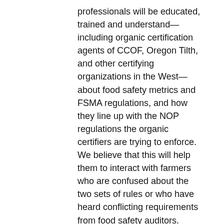professionals will be educated, trained and understand—including organic certification agents of CCOF, Oregon Tilth, and other certifying organizations in the West—about food safety metrics and FSMA regulations, and how they line up with the NOP regulations the organic certifiers are trying to enforce. We believe that this will help them to interact with farmers who are confused about the two sets of rules or who have heard conflicting requirements from food safety auditors.
2: A second outcome is that Cooperative Extension advisors will learn the same information, which very few of them understand. They will be called upon to advise farmers on food safety in the coming years and it will be important for them to understand the organic/food safety interface because of the large amount of organic produce production in the West.
3: A third outcome is that small organic farmers will be given the assistance they